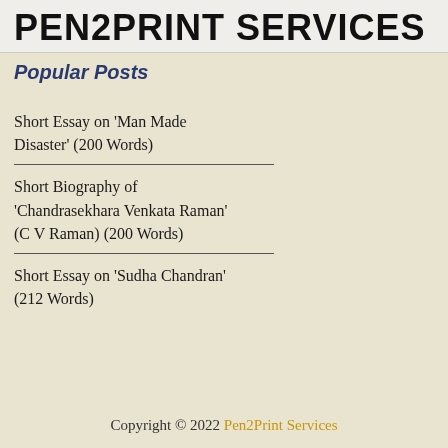PEN2PRINT SERVICES
Popular Posts
Short Essay on 'Man Made Disaster' (200 Words)
Short Biography of 'Chandrasekhara Venkata Raman' (C V Raman) (200 Words)
Short Essay on 'Sudha Chandran' (212 Words)
Copyright © 2022 Pen2Print Services